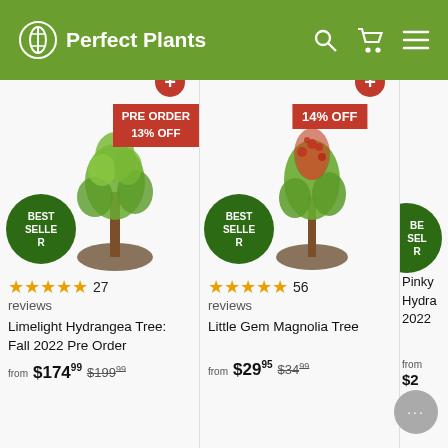[Figure (screenshot): Perfect Plants e-commerce website header with green background, logo (leaf icon + 'Perfect Plants' text), search icon, cart icon, and hamburger menu icon]
[Figure (screenshot): Product card 1: Limelight Hydrangea Tree with PRE ORDER and 13% OFF badge, BEST SELLER badge, 5 stars 27 reviews, price from $174.99 (was $199.99)]
[Figure (screenshot): Product card 2: Little Gem Magnolia Tree with 14% OFF badge, BEST SELLER badge, 5 stars 56 reviews, price from $29.95 (was $34.99)]
[Figure (screenshot): Product card 3 (partially visible): Pinky Winky Hydrangea 2022, BEST SELLER badge, stars and review count partially visible, price from $ partially visible]